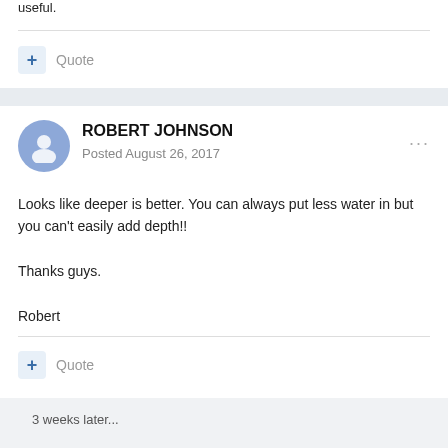useful.
+ Quote
ROBERT JOHNSON
Posted August 26, 2017
Looks like deeper is better. You can always put less water in but you can't easily add depth!!

Thanks guys.

Robert
+ Quote
3 weeks later...